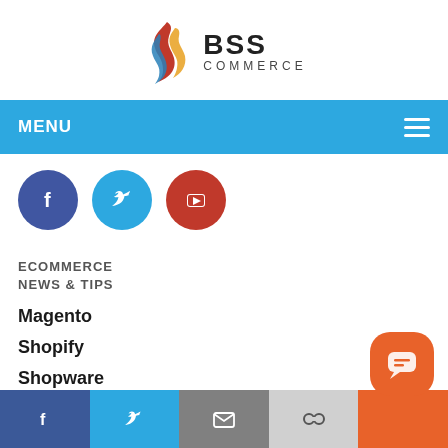[Figure (logo): BSS Commerce logo with flame icon and bold BSS COMMERCE text]
MENU
[Figure (infographic): Social media icons row: Facebook (dark blue circle), Twitter (light blue circle), YouTube (red circle)]
ECOMMERCE NEWS & TIPS
Magento
Shopify
Shopware
Odoo
Facebook | Twitter | Email | Link